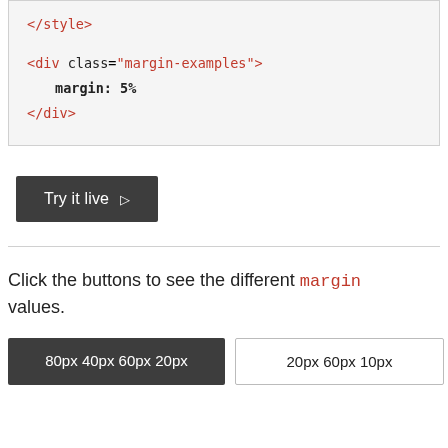[Figure (screenshot): Code block showing HTML/CSS snippet: </style> on first line, then <div class="margin-examples"> with margin: 5% inside, then </div>]
Try it live ▷
Click the buttons to see the different margin values.
[Figure (screenshot): Two buttons side by side: a dark button labeled '80px 40px 60px 20px' and an outline button labeled '20px 60px 10px']